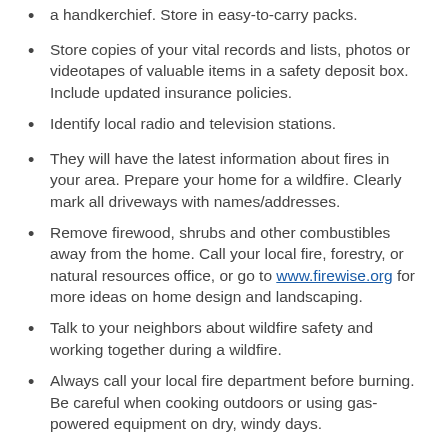a handkerchief. Store in easy-to-carry packs.
Store copies of your vital records and lists, photos or videotapes of valuable items in a safety deposit box. Include updated insurance policies.
Identify local radio and television stations.
They will have the latest information about fires in your area. Prepare your home for a wildfire. Clearly mark all driveways with names/addresses.
Remove firewood, shrubs and other combustibles away from the home. Call your local fire, forestry, or natural resources office, or go to www.firewise.org for more ideas on home design and landscaping.
Talk to your neighbors about wildfire safety and working together during a wildfire.
Always call your local fire department before burning. Be careful when cooking outdoors or using gas-powered equipment on dry, windy days.
When wildfire threatens
Remain calm. Listen to the radio and television for fire